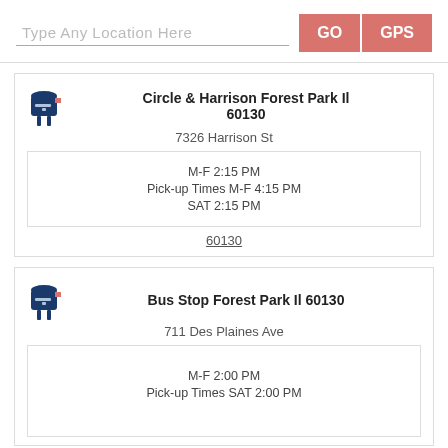Type Any Location Here
GO
GPS
Circle & Harrison Forest Park Il 60130
7326 Harrison St
Pick-up Times M-F 2:15 PM M-F 4:15 PM SAT 2:15 PM
60130
Bus Stop Forest Park Il 60130
711 Des Plaines Ave
Pick-up Times M-F 2:00 PM SAT 2:00 PM